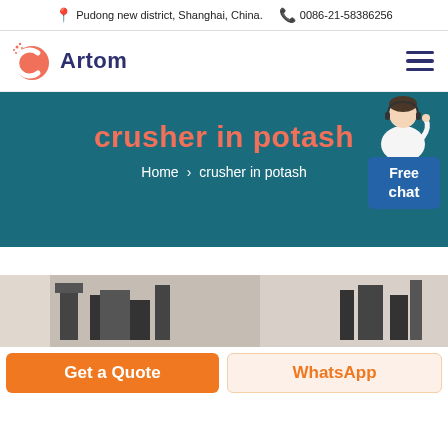📍 Pudong new district, Shanghai, China.  📞 0086-21-58386256
[Figure (logo): Artom company logo with red circular C icon and blue 'Artom' text]
crusher in potash
Home > crusher in potash
[Figure (photo): Photo of industrial crushers/machinery in a factory setting]
Get a Quote
WhatsApp